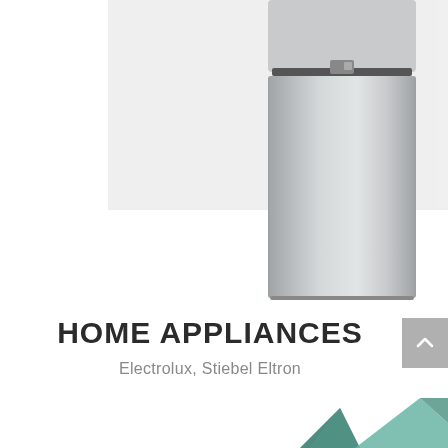[Figure (photo): A stainless steel top-freezer refrigerator shown against a light gray rectangular background panel. The refrigerator is tall and narrow with a metallic silver finish, positioned to the right side of the frame and extending below the gray panel background.]
HOME APPLIANCES
Electrolux, Stiebel Eltron
[Figure (illustration): Geometric 3D shapes in teal/muted green color partially visible at the bottom of the page, appearing to be angular polyhedral forms.]